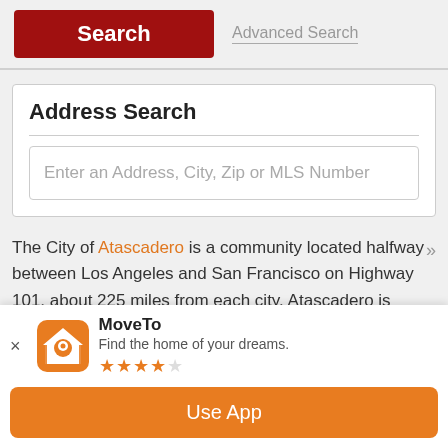[Figure (screenshot): Search button (dark red) and Advanced Search link at top of page]
Address Search
Enter an Address, City, Zip or MLS Number
The City of Atascadero is a community located halfway between Los Angeles and San Francisco on Highway 101, about 225 miles from each city. Atascadero is situated within an oak forest off Highway 101 twenty miles north of San Luis Obispo and 10 miles south of Paso Robles. Nearby CA Highways 41 and 46 provide easy access to the Pacific Coast
[Figure (screenshot): MoveTo app banner with orange house icon, app name, description 'Find the home of your dreams.', 3.5 star rating, and Use App button]